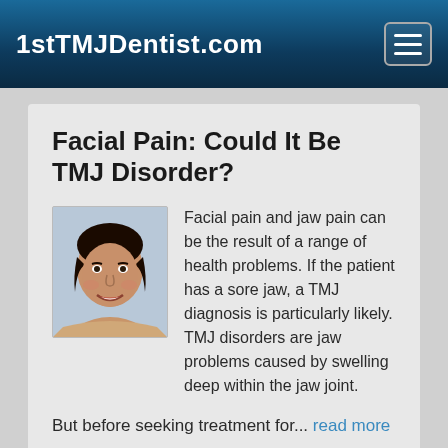1stTMJDentist.com
Facial Pain: Could It Be TMJ Disorder?
[Figure (photo): Portrait photo of a smiling woman]
Facial pain and jaw pain can be the result of a range of health problems. If the patient has a sore jaw, a TMJ diagnosis is particularly likely. TMJ disorders are jaw problems caused by swelling deep within the jaw joint.
But before seeking treatment for... read more